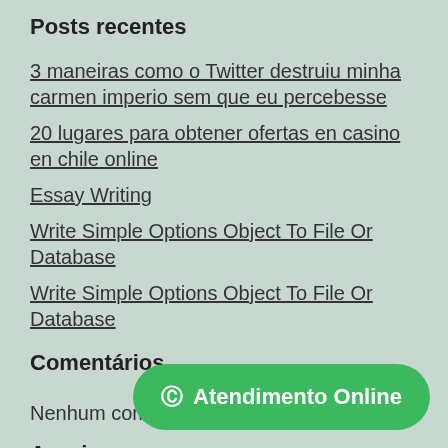Posts recentes
3 maneiras como o Twitter destruiu minha carmen imperio sem que eu percebesse
20 lugares para obtener ofertas en casino en chile online
Essay Writing
Write Simple Options Object To File Or Database
Write Simple Options Object To File Or Database
Comentários
Nenhum comentário para mostrar.
Arquivos
agosto 2022
© Atendimento Online